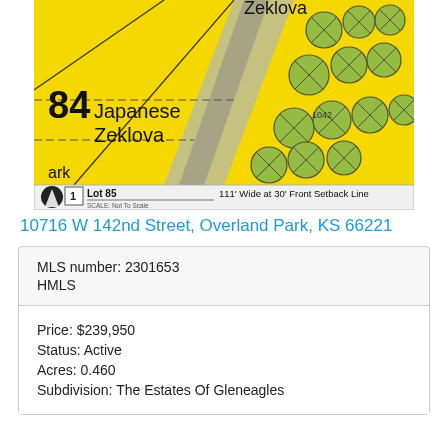[Figure (map): Aerial/plat map showing lot 85 with Japanese Zeklova trees, yellow background indicating lot boundaries, number 84 visible, with lot label 'Lot 85 / 111 Wide at 30 Front Setback Line' and scale note.]
10716 W 142nd Street, Overland Park, KS 66221
| MLS number: 2301653 |
| HMLS |
| Price: $239,950 |
| Status: Active |
| Acres: 0.460 |
| Subdivision: The Estates Of Gleneagles |